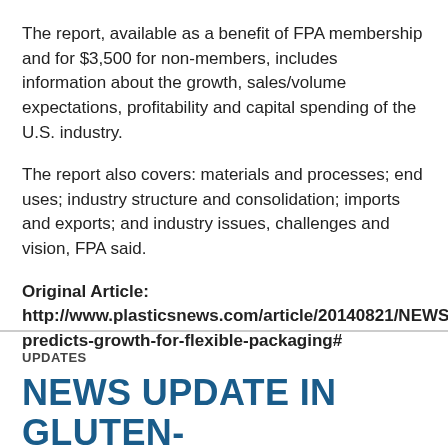The report, available as a benefit of FPA membership and for $3,500 for non-members, includes information about the growth, sales/volume expectations, profitability and capital spending of the U.S. industry.
The report also covers: materials and processes; end uses; industry structure and consolidation; imports and exports; and industry issues, challenges and vision, FPA said.
Original Article: http://www.plasticsnews.com/article/20140821/NEWS/140829982/report-predicts-growth-for-flexible-packaging#
UPDATES
NEWS UPDATE IN GLUTEN-